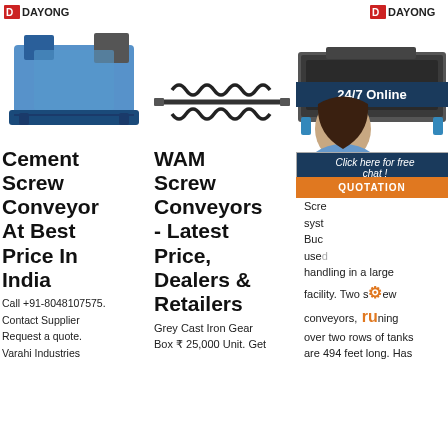[Figure (logo): DAYONG logo left]
[Figure (logo): DAYONG logo right]
[Figure (photo): Blue cement screw conveyor machine]
[Figure (photo): Screw conveyor spring/shaft component]
[Figure (photo): Industrial sieve/screener machine with 24/7 Online overlay panel]
Cement Screw Conveyor At Best Price In India
Call +91-8048107575. Contact Supplier Request a quote. Varahi Industries
WAM Screw Conveyors - Latest Price, Dealers & Retailers
Grey Cast Iron Gear Box ₹ 25,000 Unit. Get
Sc Co
Screw syst Buc used handling in a large facility. Two screw conveyors, running over two rows of tanks are 494 feet long. Has